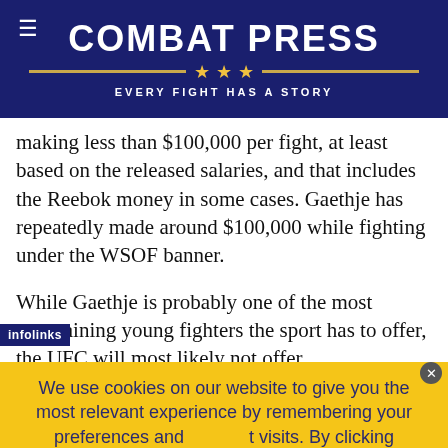COMBAT PRESS — EVERY FIGHT HAS A STORY
making less than $100,000 per fight, at least based on the released salaries, and that includes the Reebok money in some cases. Gaethje has repeatedly made around $100,000 while fighting under the WSOF banner.
While Gaethje is probably one of the most entertaining young fighters the sport has to offer, the UFC will most likely not offer
We use cookies on our website to give you the most relevant experience by remembering your preferences and repeat visits. By clicking “Accept,” you consent to the use of